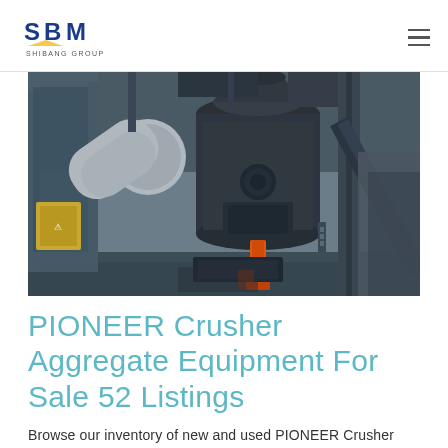SBM SHIBANG GROUP
[Figure (photo): Industrial crusher/mill equipment in a factory setting — large cylindrical vertical mill machine with ducts, structural steel columns, orange hydraulic component, and electrical panels visible on factory floor.]
PIONEER Crusher Aggregate Equipment For Sale 52 Listings
Browse our inventory of new and used PIONEER Crusher Aggregate Equipment For Sale near you at MachineryTrader